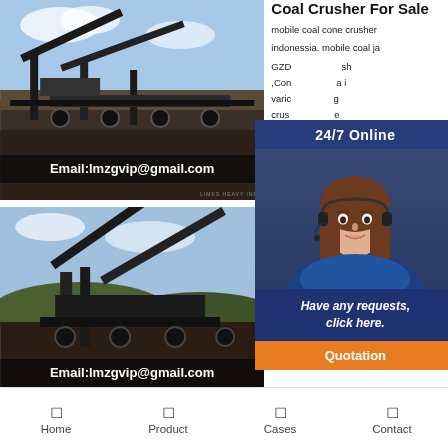[Figure (photo): Coal crusher / screening equipment in outdoor industrial setting with conveyor belts and machinery. Email overlay: Email:lmzgvip@gmail.com]
[Figure (photo): Second photo of coal crushing/screening equipment in open field setting. Email overlay: Email:lmzgvip@gmail.com]
[Figure (photo): Partial third photo of industrial equipment, cropped at bottom of page]
Coal Crusher For Sale
mobile coal cone crusher indonessia. mobile coal ja GZD sh ,Con a i varic g crus e
[Figure (infographic): 24/7 Online chat widget with customer service agent photo, 'Have any requests, click here.' message, and Quotation button]
Stone Crusher
The le has o bene e Indo ac crushing strength less than particles. Limestone impa
Cone Crusher Indonesi
Home | Product | Cases | Contact